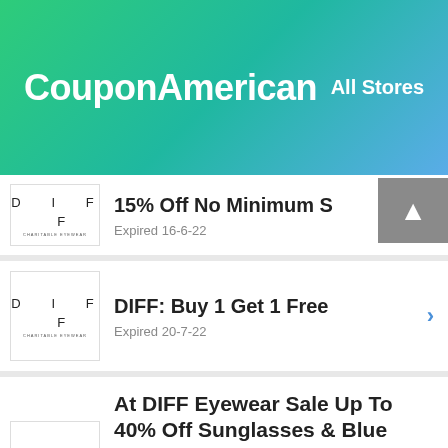CouponAmerican   All Stores
15% Off No Minimum S — Expired 16-6-22
DIFF: Buy 1 Get 1 Free — Expired 20-7-22
At DIFF Eyewear Sale Up To 40% Off Sunglasses & Blue Light Blocking Glasses — Expired 20-7-22